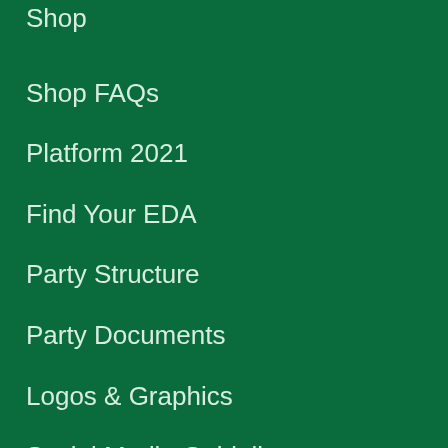Shop
Shop FAQs
Platform 2021
Find Your EDA
Party Structure
Party Documents
Logos & Graphics
Social Media Guidelines
Deputy Leaders